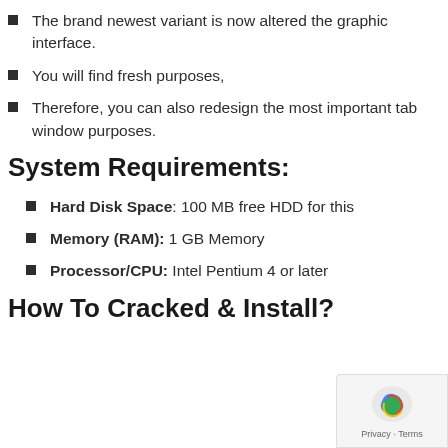The brand newest variant is now altered the graphic interface.
You will find fresh purposes,
Therefore, you can also redesign the most important tab window purposes.
System Requirements:
Hard Disk Space: 100 MB free HDD for this
Memory (RAM): 1 GB Memory
Processor/CPU: Intel Pentium 4 or later
How To Cracked & Install?